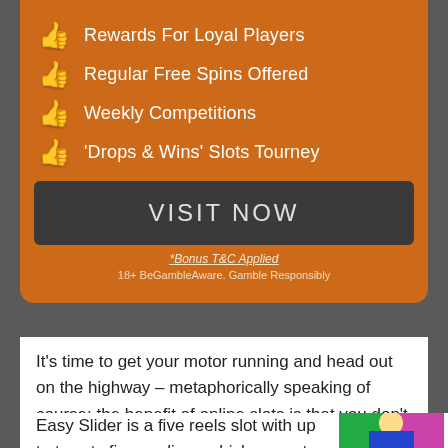👍 Rewards For Loyal Players
👍 Regular Free Spins Offered
👍 Weekly Competitions
👍 'Drops & Wins' Slots Tourney
VISIT NOW
*Bonus T&C Applied
18+ BeGambleAware. Gamble Responsibly
It's time to get your motor running and head out on the highway – metaphorically speaking of course; the benefit of online slots is that you don't actually have to leave your house. Playing Easy Slider from NextGen Gaming is not a bad substitute for hitting the blacktop and you can win money while doing so.
Easy Slider is a five reels slot with up to twenty five paylines which are set against the backdrop of a desert photo (although the cactus
[Figure (illustration): Game screenshot showing Easy Slider slot machine with a cartoon female character with green hair highlights on a colorful pink/green background]